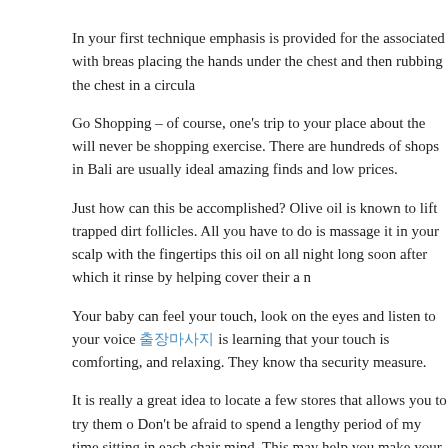In your first technique emphasis is provided for the associated with breas placing the hands under the chest and then rubbing the chest in a circula
Go Shopping – of course, one's trip to your place about the will never be shopping exercise. There are hundreds of shops in Bali are usually ideal amazing finds and low prices.
Just how can this be accomplished? Olive oil is known to lift trapped dirt follicles. All you have to do is massage it in your scalp with the fingertips this oil on all night long soon after which it rinse by helping cover their a n
Your baby can feel your touch, look on the eyes and listen to your voice 출장마사지 is learning that your touch is comforting, and relaxing. They know tha security measure.
It is really a great idea to locate a few stores that allows you to try them o Don't be afraid to spend a lengthy period of my time sitting in each chair mind. This may help you make your choice easier assure that even your invigorating.
Filed Under: Uncategorized